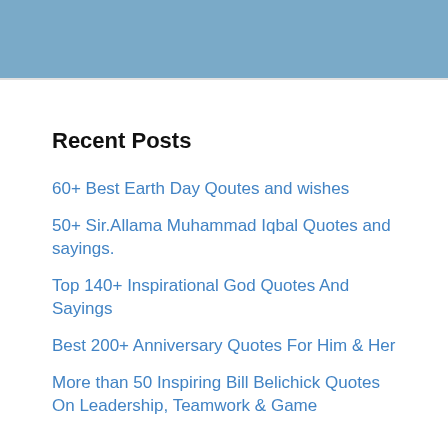Recent Posts
60+ Best Earth Day Qoutes and wishes
50+ Sir.Allama Muhammad Iqbal Quotes and sayings.
Top 140+ Inspirational God Quotes And Sayings
Best 200+ Anniversary Quotes For Him & Her
More than 50 Inspiring Bill Belichick Quotes On Leadership, Teamwork & Game